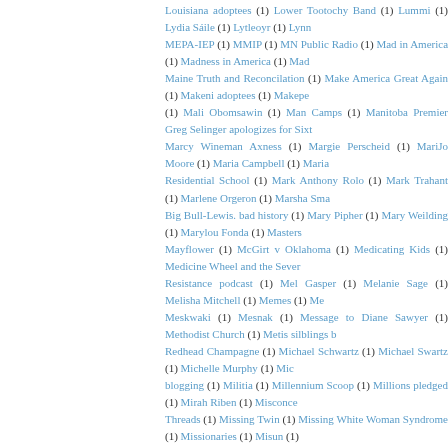Louisiana adoptees (1) Lower Tootochy Band (1) Lummi (1) Lydia Sáile (1) Lytleoyr (1) Lynn MEPA-IEP (1) MMIP (1) MN Public Radio (1) Mad in America (1) Madness in America (1) Mad Maine Truth and Reconciliation (1) Make America Great Again (1) Makeni adoptees (1) Makepe (1) Mali Obomsawin (1) Man Camps (1) Manitoba Premier Greg Selinger apologizes for Sixt Marcy Wineman Axness (1) Margie Perscheid (1) MariJo Moore (1) Maria Campbell (1) Maria Residential School (1) Mark Anthony Rolo (1) Mark Trahant (1) Marlene Orgeron (1) Marsha Sma Big Bull-Lewis. bad history (1) Mary Pipher (1) Mary Weilding (1) Marylou Fonda (1) Masters Mayflower (1) McGirt v Oklahoma (1) Medicating Kids (1) Medicine Wheel and the Sever Resistance podcast (1) Mel Gasper (1) Melanie Sage (1) Melisha Mitchell (1) Memes (1) Me Meskwaki (1) Mesnak (1) Message to Diane Sawyer (1) Methodist Church (1) Metis silblings b Redhead Champagne (1) Michael Schwartz (1) Michael Swartz (1) Michelle Murphy (1) Mic blogging (1) Militia (1) Millennium Scoop (1) Millions pledged (1) Mirah Riben (1) Misconce Threads (1) Missing Twin (1) Missing White Woman Syndrome (1) Missionaries (1) Misun (1) Tale (1) Mohawk (1) Monacan Indian Nation (1) Monahan (1) Monica Cassani (1) Monique Von Montana Public Radio (1) Montreal (1) Moose Jaw (1) MooseJaw (1) Moravian (1) More Grave Mount Pleasant Indian Industrial Boarding School (1) Musings of the Lamb (1) Muskogee Creek (1) Métis survivors (1) N'we Jinan (1) NAJA (1) NAPT (1) NCIS (1) NDN Collective (1) NDP I (1) Names of 2 (1) Namgis First Nation (1) Nathaniel Downes (1) National (1) National Cong Mourning (1) National Indian Child Welfare Association (1) National Indian Justice Center (1) N Network (1) National Indigenous Women's Resource Center (1) National Law Review (1) Nati Awareness Day Event (1) Native American Boarding School (1) Native American Boarding S Caucus (1) Native American Court to Run Under Bigger Concept of Family (1) Native America Confront the Legacy of Adoption (1) Native Americans on Race (video) (1) Native Appropirat Circles podcast (1) Native Daughters Ms Magazine (1) Native Politicians (1) Native authors Historic Agreement With DHHS to Handle its Tribal Foster Care (1) Navajo adoptee (1) Nazi Par (1) Ned Blackhawk (1) Nelson House First Nation (1) Neqotkuk First Nation (1) Netherlands (1) New Hampshire (1) New Jersey OBC (1) New Scholarship on Indian Slavery (1) New Scholarshi